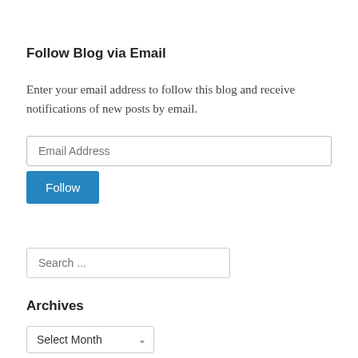Follow Blog via Email
Enter your email address to follow this blog and receive notifications of new posts by email.
[Figure (other): Email address input field with placeholder text 'Email Address']
[Figure (other): Blue 'Follow' button]
[Figure (other): Search input field with placeholder text 'Search ...']
Archives
[Figure (other): Dropdown select box with 'Select Month' and a down arrow]